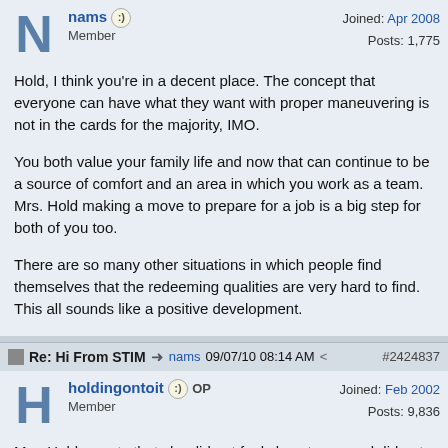nams · Member · Joined: Apr 2008 · Posts: 1,775
Hold, I think you're in a decent place. The concept that everyone can have what they want with proper maneuvering is not in the cards for the majority, IMO.

You both value your family life and now that can continue to be a source of comfort and an area in which you work as a team. Mrs. Hold making a move to prepare for a job is a big step for both of you too.

There are so many other situations in which people find themselves that the redeeming qualities are very hard to find. This all sounds like a positive development.
Re: Hi From STIM → nams 09/07/10 08:14 AM #2424837
holdingontoit OP · Member · Joined: Feb 2002 · Posts: 9,836
Mrs. Hold reports that she did not feel close to me and did not enjoy our time spent together this past weekend. Shows how poor a judge I am of her. I thought we have been getting along better lately. I thought we had a nice